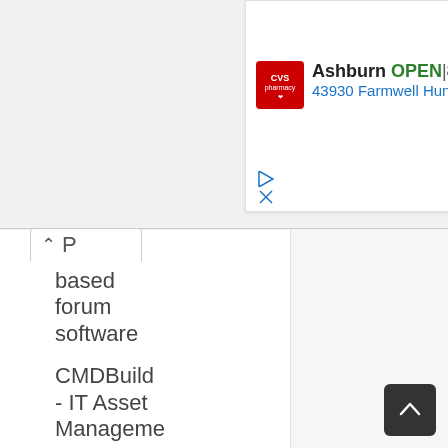[Figure (screenshot): CVS Pharmacy ad banner showing Ashburn location OPEN with address 43930 Farmwell Hun...]
P based forum software
CMDBuild - IT Asset Manageme
vtiger CRM - Complete CRM solution
OFBiz - Apache